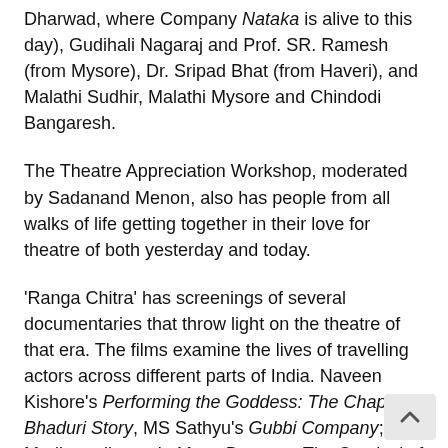Dharwad, where Company Nataka is alive to this day), Gudihali Nagaraj and Prof. SR. Ramesh (from Mysore), Dr. Sripad Bhat (from Haveri), and Malathi Sudhir, Malathi Mysore and Chindodi Bangaresh.
The Theatre Appreciation Workshop, moderated by Sadanand Menon, also has people from all walks of life getting together in their love for theatre of both yesterday and today.
'Ranga Chitra' has screenings of several documentaries that throw light on the theatre of that era. The films examine the lives of travelling actors across different parts of India. Naveen Kishore's Performing the Goddess: The Chapal Bhaduri Story, MS Sathyu's Gubbi Company; K Madhusudhanan's Maya Bazaar – The Survival of a 120-year-old Theatre Family and so o